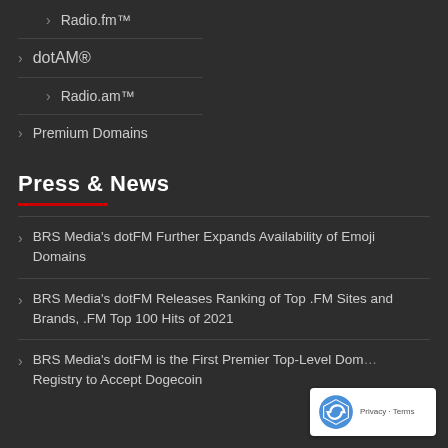Radio.fm™
dotAM®
Radio.am™
Premium Domains
Press & News
BRS Media's dotFM Further Expands Availability of Emoji Domains
BRS Media's dotFM Releases Ranking of Top .FM Sites and Brands, .FM Top 100 Hits of 2021
BRS Media's dotFM is the First Premier Top-Level Domain Registry to Accept Dogecoin